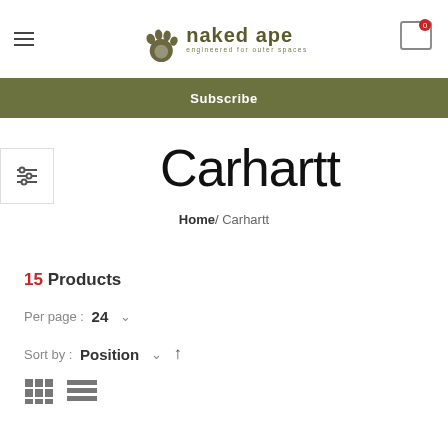naked ape — engineered for outer spaces
Subscribe
Carhartt
Home / Carhartt
15 Products
Per page : 24
Sort by : Position
[Figure (other): Grid and list view toggle icons]